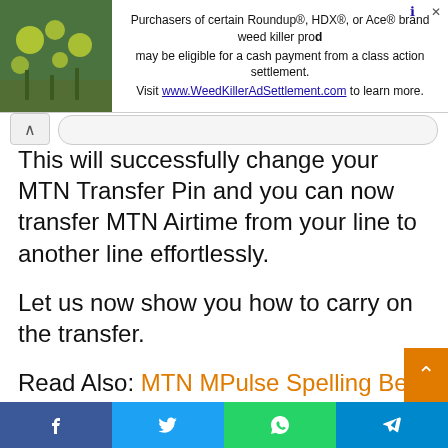[Figure (other): Advertisement banner: green plant background image on left, text about Roundup/HDX/Ace brand weed killer class action settlement, visit www.WeedKillerAdSettlement.com]
This will successfully change your MTN Transfer Pin and you can now transfer MTN Airtime from your line to another line effortlessly.
Let us now show you how to carry on the transfer.
Read Also: MTN MPulse Spelling Bee Competition: Requirements and How to Apply
How to Transfer Airtime from one
Facebook Twitter WhatsApp Telegram share buttons